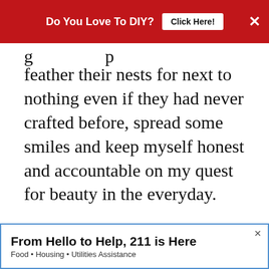Do You Love To DIY? | Click Here! | ×
feather their nests for next to nothing even if they had never crafted before, spread some smiles and keep myself honest and accountable on my quest for beauty in the everyday.
So far, so good.
Nothing I do is difficult, it's all perfect for b[...] [the glue]
[Figure (screenshot): What's Next widget showing a thumbnail of a flower and label 'WHAT'S NEXT → Some Days...']
[Figure (screenshot): Bottom advertisement banner: 'From Hello to Help, 211 is Here' with subtitle 'Food · Housing · Utilities Assistance']